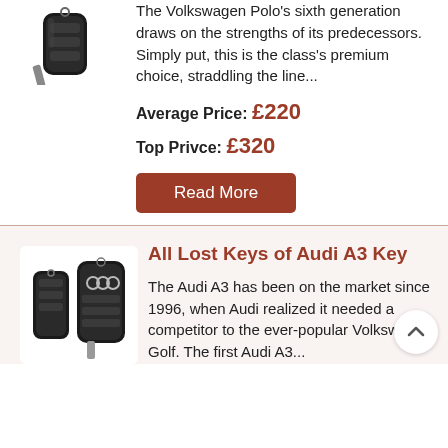[Figure (photo): Car key fob for Volkswagen Polo, black flip key, top view, partially cropped at top]
The Volkswagen Polo's sixth generation draws on the strengths of its predecessors. Simply put, this is the class's premium choice, straddling the line...
Average Price: £220
Top Privce: £320
Read More
All Lost Keys of Audi A3 Key
[Figure (photo): Two Audi A3 car key fobs, black, one smaller and one larger with Audi logo]
The Audi A3 has been on the market since 1996, when Audi realized it needed a competitor to the ever-popular Volkswagen Golf. The first Audi A3...